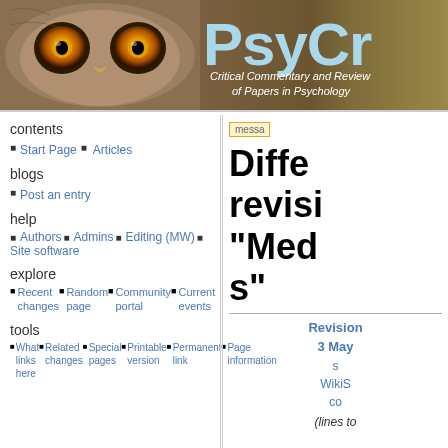[Figure (illustration): PsyCritiques website header banner showing an owl face on the left and 'PsyCr' logo text in light blue on a brown/golden background, with subtitle 'Critical Commentary and Review of Papers in Psychology' in white italic text]
contents
Start Page  Articles
blogs
Post an entry
help
Authors  Admins  Editing (MW)  Site software
explore
Recent changes  Random page  Community portal  Current events
tools
What links here  Related changes  Special pages  Printable version  Permanent link  Page information
messa
Diffe revision "Med s"
Revision 3 May s WikiS co (lines to